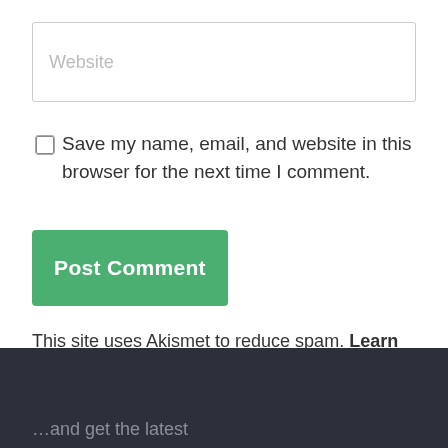Website
Save my name, email, and website in this browser for the next time I comment.
Post Comment
This site uses Akismet to reduce spam. Learn how your comment data is processed.
…and get the latest